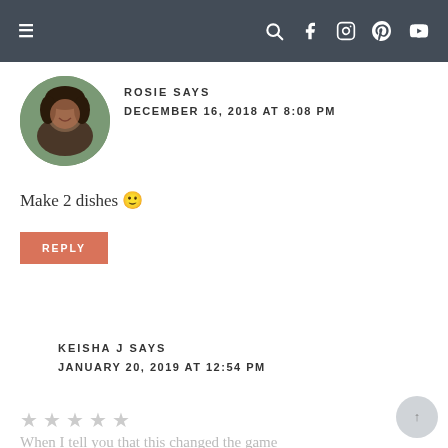Navigation bar with menu, search, facebook, instagram, pinterest, youtube icons
ROSIE SAYS
DECEMBER 16, 2018 AT 8:08 PM
Make 2 dishes 🙂
REPLY
KEISHA J SAYS
JANUARY 20, 2019 AT 12:54 PM
When I tell you that this changed the game